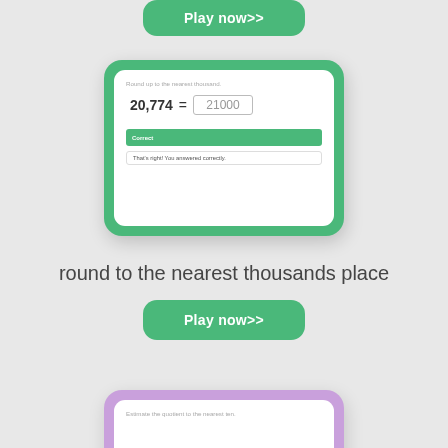[Figure (screenshot): Green 'Play now>>' button at the top of the page]
[Figure (screenshot): Math quiz card with green border showing 'Round up to the nearest thousand.' problem: 20,774 = 21000, with a green 'Correct' bar and feedback text 'That's right! You answered correctly.']
round to the nearest thousands place
[Figure (screenshot): Green 'Play now>>' button in the middle of the page]
[Figure (screenshot): Partially visible purple-bordered math quiz card at the bottom with instruction 'Estimate the quotient to the nearest ten.']